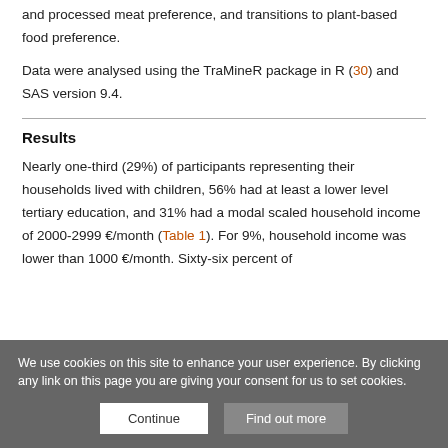and processed meat preference, and transitions to plant-based food preference.
Data were analysed using the TraMineR package in R (30) and SAS version 9.4.
Results
Nearly one-third (29%) of participants representing their households lived with children, 56% had at least a lower level tertiary education, and 31% had a modal scaled household income of 2000-2999 €/month (Table 1). For 9%, household income was lower than 1000 €/month. Sixty-six percent of
We use cookies on this site to enhance your user experience. By clicking any link on this page you are giving your consent for us to set cookies.